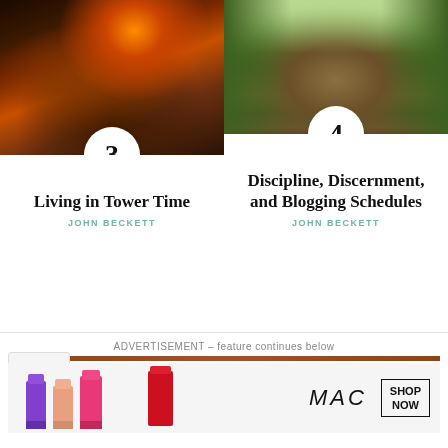[Figure (illustration): Dark fantasy digital illustration of a volcanic eruption with lightning and figures at base, orange and brown tones]
[Figure (photo): Forest path photo showing a dirt trail through green trees with lush foliage]
Living in Tower Time
JOHN BECKETT
Discipline, Discernment, and Blogging Schedules
JOHN BECKETT
ADVERTISEMENT – feature continues below
[Figure (screenshot): MAC cosmetics advertisement banner showing lipsticks and SHOP NOW button]